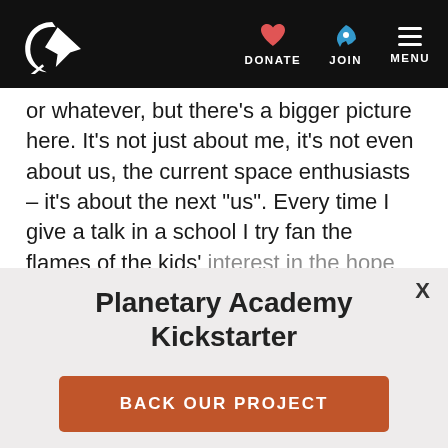Planetary Society navigation bar with logo, DONATE, JOIN, MENU
or whatever, but there’s a bigger picture here. It’s not just about me, it’s not even about us, the current space enthusiasts – it’s about the next “us”. Every time I give a talk in a school I try fan the flames of the kids’ interest in the hope that I’ll inspire one of
Planetary Academy Kickstarter
BACK OUR PROJECT